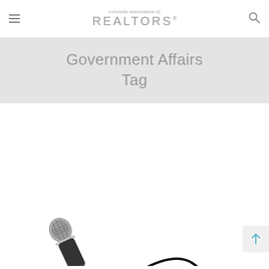colorado association of REALTORS®
Government Affairs Tag
[Figure (photo): A handheld dynamic microphone lying diagonally with its black cable coiled to the right, on a white background.]
[Figure (other): Back-to-top button with upward arrow, light gray background.]